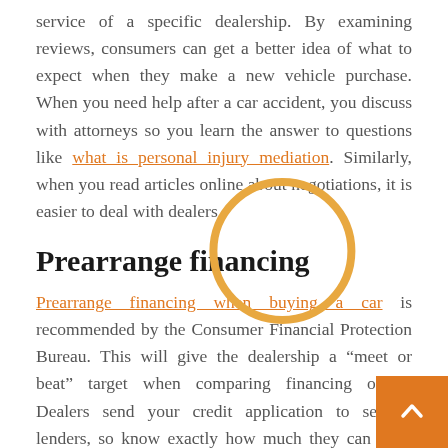service of a specific dealership. By examining reviews, consumers can get a better idea of what to expect when they make a new vehicle purchase. When you need help after a car accident, you discuss with attorneys so you learn the answer to questions like what is personal injury mediation. Similarly, when you read articles online about negotiations, it is easier to deal with dealers.
Prearrange financing
Prearrange financing when buying a car is recommended by the Consumer Financial Protection Bureau. This will give the dealership a “meet or beat” target when comparing financing offers. Dealers send your credit application to several lenders, so know exactly how much they can offer you. By pre-